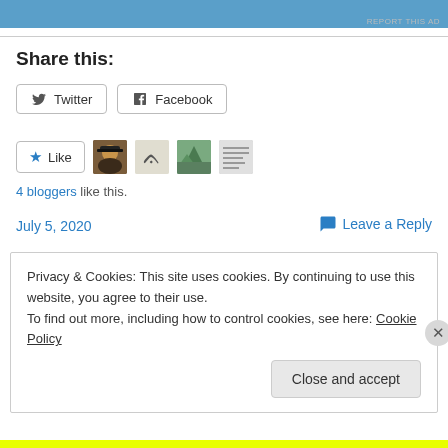[Figure (other): Blue advertisement banner bar at the top]
REPORT THIS AD
Share this:
Twitter  Facebook (share buttons)
[Figure (other): Like button with star icon and 4 blogger avatars]
4 bloggers like this.
July 5, 2020
Leave a Reply
Privacy & Cookies: This site uses cookies. By continuing to use this website, you agree to their use.
To find out more, including how to control cookies, see here: Cookie Policy
Close and accept